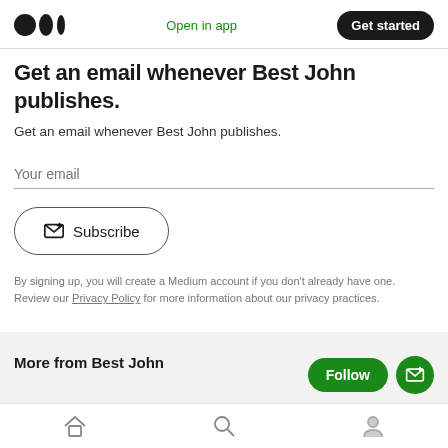Medium logo | Open in app | Get started
Get an email whenever Best John publishes.
Get an email whenever Best John publishes.
Your email
Subscribe
By signing up, you will create a Medium account if you don't already have one. Review our Privacy Policy for more information about our privacy practices.
More from Best John
Home | Search | Profile